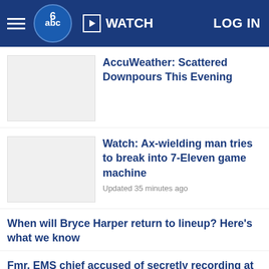WATCH   LOG IN
AccuWeather: Scattered Downpours This Evening
Watch: Ax-wielding man tries to break into 7-Eleven game machine
Updated 35 minutes ago
When will Bryce Harper return to lineup? Here's what we know
Fmr. EMS chief accused of secretly recording at least 11 women
Updated 31 minutes ago
Many schools across the region are facing a teacher shortage
Updated 38 minutes ago